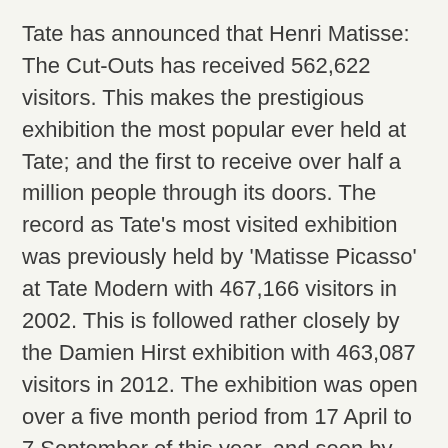Tate has announced that Henri Matisse: The Cut-Outs has received 562,622 visitors. This makes the prestigious exhibition the most popular ever held at Tate; and the first to receive over half a million people through its doors. The record as Tate's most visited exhibition was previously held by 'Matisse Picasso' at Tate Modern with 467,166 visitors in 2002. This is followed rather closely by the Damien Hirst exhibition with 463,087 visitors in 2012. The exhibition was open over a five month period from 17 April to 7 September of this year, and seen by 3,907 visitors each day.
The artist in question; Henri-Émile-Benoît Matisse (1869 – 1954) was one of the leading figures of Modern Art – and is considered as one of the most significant colourists of all time. Matisse was a draughtsman,